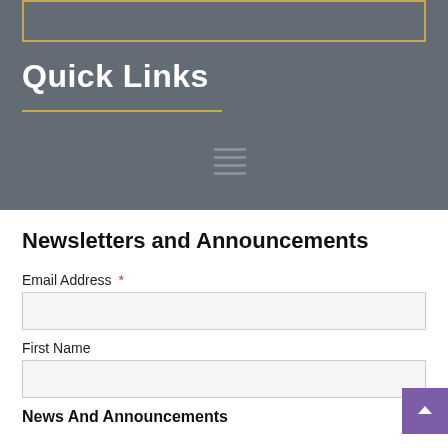[Figure (screenshot): Search input box with gold/yellow border on dark gray background]
Quick Links
Newsletters and Announcements
Email Address *
[Figure (other): Email address input field (empty)]
First Name
[Figure (other): First Name input field (empty) with purple scroll-to-top button overlaid]
News And Announcements